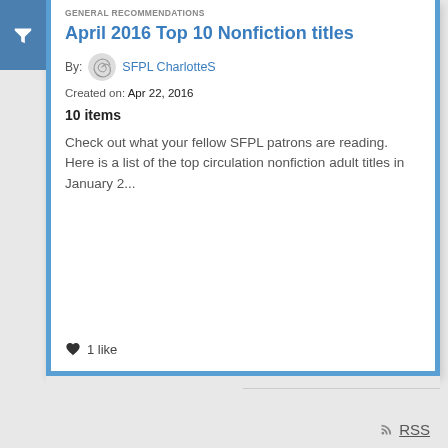GENERAL RECOMMENDATIONS
April 2016 Top 10 Nonfiction titles
By: SFPL CharlotteS
Created on: Apr 22, 2016
10 items
Check out what your fellow SFPL patrons are reading. Here is a list of the top circulation nonfiction adult titles in January 2...
1 like
RSS